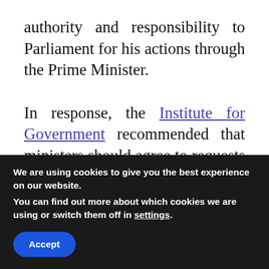authority and responsibility to Parliament for his actions through the Prime Minister.

In response, the Institute for Government recommended that ministers should agree to requests for high-profile SpAds to appear in front of parliamentary select committees, whilst last week the House of Commons Committee of Privileges suggested that fines, and not just being in contempt of Parliament, should be introduced if private individuals fail
We are using cookies to give you the best experience on our website.
You can find out more about which cookies we are using or switch them off in settings.